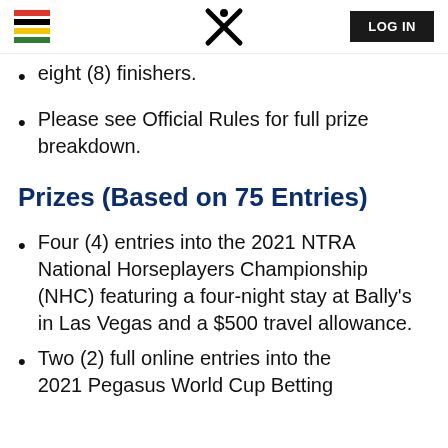LOG IN
eight (8) finishers.
Please see Official Rules for full prize breakdown.
Prizes (Based on 75 Entries)
Four (4) entries into the 2021 NTRA National Horseplayers Championship (NHC) featuring a four-night stay at Bally's in Las Vegas and a $500 travel allowance.
Two (2) full online entries into the 2021 Pegasus World Cup Betting...